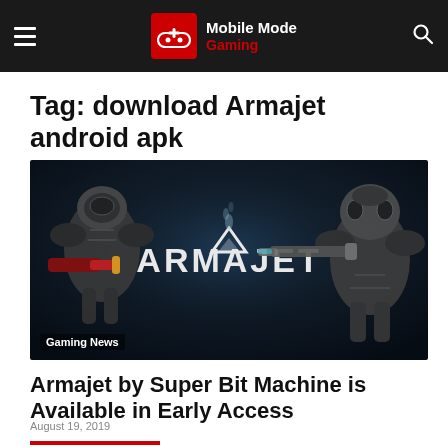Mobile Mode Gaming
Tag: download Armajet android apk
[Figure (screenshot): Armajet game promotional image showing two armored robot-like characters with weapons on a dark background, with the text ARMAJET displayed prominently in the center. A 'Gaming News' label appears in the bottom left.]
Armajet by Super Bit Machine is Available in Early Access
August 19, 2019